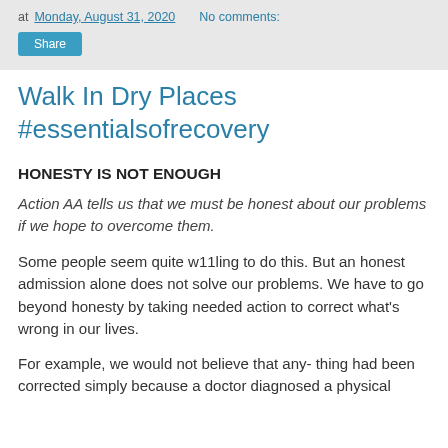at Monday, August 31, 2020   No comments:
Share
Walk In Dry Places #essentialsofrecovery
HONESTY IS NOT ENOUGH
Action AA tells us that we must be honest about our problems if we hope to overcome them.
Some people seem quite w11ling to do this. But an honest admission alone does not solve our problems. We have to go beyond honesty by taking needed action to correct what's wrong in our lives.
For example, we would not believe that any- thing had been corrected simply because a doctor diagnosed a physical